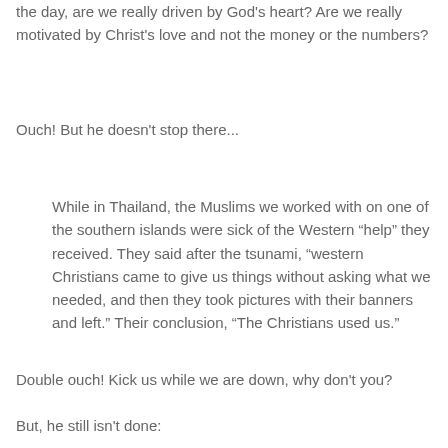the day, are we really driven by God's heart? Are we really motivated by Christ's love and not the money or the numbers?
Ouch! But he doesn't stop there...
While in Thailand, the Muslims we worked with on one of the southern islands were sick of the Western “help” they received. They said after the tsunami, “western Christians came to give us things without asking what we needed, and then they took pictures with their banners and left.” Their conclusion, “The Christians used us.”
Double ouch! Kick us while we are down, why don't you?
But, he still isn't done: